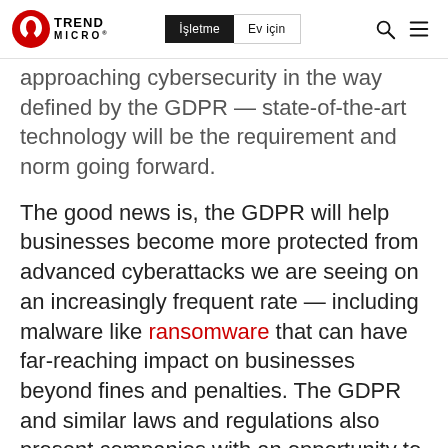Trend Micro | İşletme | Ev için
approaching cybersecurity in the way defined by the GDPR — state-of-the-art technology will be the requirement and norm going forward.
The good news is, the GDPR will help businesses become more protected from advanced cyberattacks we are seeing on an increasingly frequent rate — including malware like ransomware that can have far-reaching impact on businesses beyond fines and penalties. The GDPR and similar laws and regulations also present companies with an opportunity to better secure their brand and relationship with customers and users. Users will now see new rights to control their data as well as new